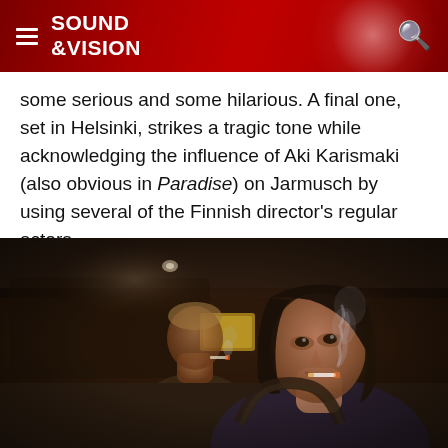SOUND & VISION
some serious and some hilarious. A final one, set in Helsinki, strikes a tragic tone while acknowledging the influence of Aki Karismaki (also obvious in Paradise) on Jarmusch by using several of the Finnish director's regular actors.
[Figure (photo): Two people sitting in a car, both smoking cigarettes. A dark-haired woman in the foreground looks upward with a cigarette in her mouth, smoke visible. A man is visible in the background, slightly blurred.]